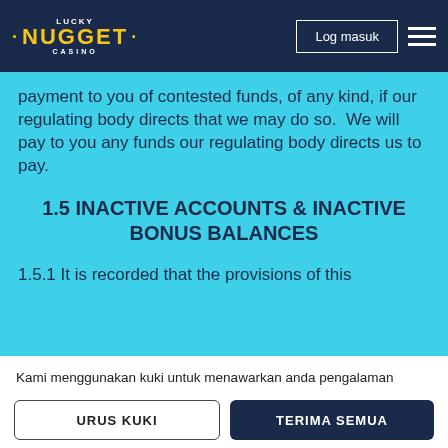Lucky Nugget Casino — Log masuk
payment to you of contested funds, of any kind, if our regulating body directs that we may do so.  We will pay to you any funds our regulating body directs us to pay.
1.5 INACTIVE ACCOUNTS & INACTIVE BONUS BALANCES
1.5.1 It is recorded that the provisions of this
Kami menggunakan kuki untuk menawarkan anda pengalaman permainan yang terbaik. Anda boleh menerima semua kuki sekarang atau menguruskan kuki yang anda benarkan kami gunakan. Untuk maklumat lanjut, sila baca Dasar Kuki kami